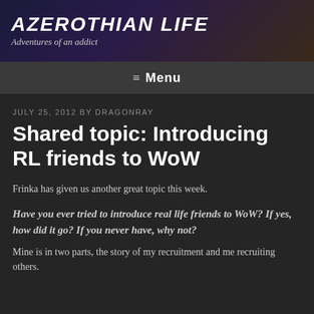AZEROTHIAN LIFE — Adventures of an addict
Menu
JULY 25, 2012 BY DRAGONRAY
Shared topic: Introducing RL friends to WoW
Frinka has given us another great topic this week.
Have you ever tried to introduce real life friends to WoW? If yes, how did it go? If you never have, why not?
Mine is in two parts, the story of my recruitment and me recruiting others.